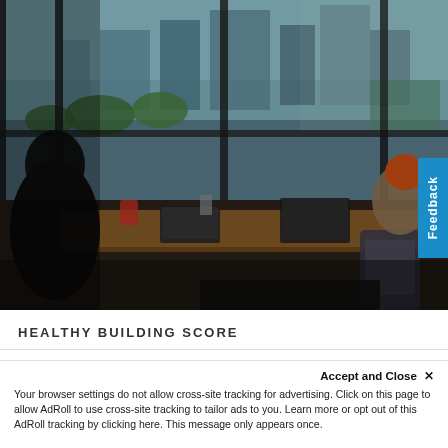[Figure (photo): Office workspace photo showing people working at desks near large windows with a city skyline view, taken from a high-rise building. Two individuals visible from behind, one with orange/red hair, working on laptops on a wooden desk. Urban cityscape with green trees visible through floor-to-ceiling windows.]
HEALTHY BUILDING SCORE
Accept and Close ×
Your browser settings do not allow cross-site tracking for advertising. Click on this page to allow AdRoll to use cross-site tracking to tailor ads to you. Learn more or opt out of this AdRoll tracking by clicking here. This message only appears once.